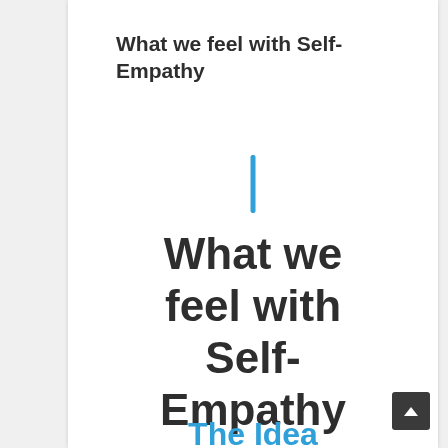What we feel with Self-Empathy
[Figure (other): Vertical blue decorative bar/divider]
What we feel with Self-Empathy
The Idea